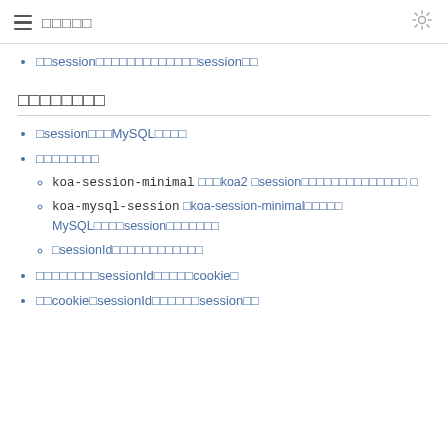□□□□□
□□session□□□□□□□□□□□□□session□□
□□□□□□□□
□session□□□MySQL□□□□
□□□□□□□□
koa-session-minimal □□□koa2 □session□□□□□□□□□□□□ □□ □
koa-mysql-session □koa-session-minimal□□□□□ MySQL□□□□session□□□□□□□
□sessionId□□□□□□□□□□□□
□□□□□□□□sessionId□□□□□cookie□
□□cookie□sessionId□□□□□□session□□